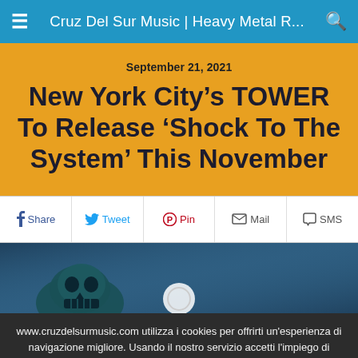Cruz Del Sur Music | Heavy Metal R...
September 21, 2021
New York City's TOWER To Release 'Shock To The System' This November
Share  Tweet  Pin  Mail  SMS
[Figure (photo): Partial view of album artwork showing a skull/creature on a blue background]
www.cruzdelsurmusic.com utilizza i cookies per offrirti un'esperienza di navigazione migliore. Usando il nostro servizio accetti l'impiego di cookie in accordo con la nostra cookie policy. Scoprine di più. Ho capito.